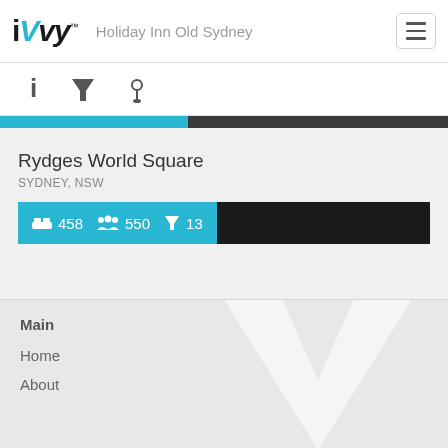iVvy — Holiday Inn Old Sydney
[Figure (screenshot): Navigation icon bar with info (i), filter (martini glass), and location pin icons]
[Figure (infographic): Progress bar: cyan filled portion (~42%) and dark gray remainder]
Rydges World Square
SYDNEY, NSW
[Figure (infographic): Stats bar in cyan: bed icon 458, people icon 550, cocktail icon 13; followed by black extension bar]
Main
Home
About